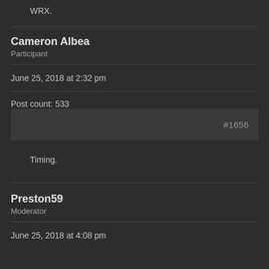WRX.
Cameron Albea
Participant
June 25, 2018 at 2:32 pm
Post count: 533
#1656
Timing.
Preston59
Moderator
June 25, 2018 at 4:08 pm